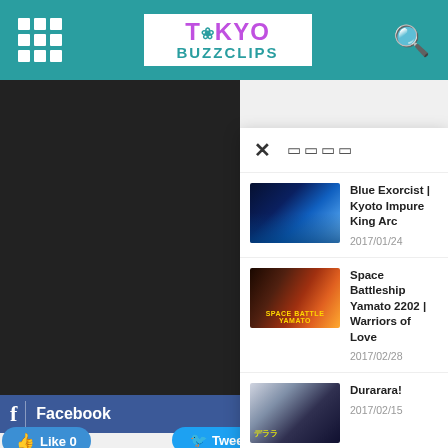Tokyo BuzzClips
[Figure (screenshot): Navigation dropdown menu overlay showing anime article links on Tokyo BuzzClips website]
Blue Exorcist | Kyoto Impure King Arc
2017/01/24
Space Battleship Yamato 2202 | Warriors of Love
2017/02/28
Durarara!
2017/02/15